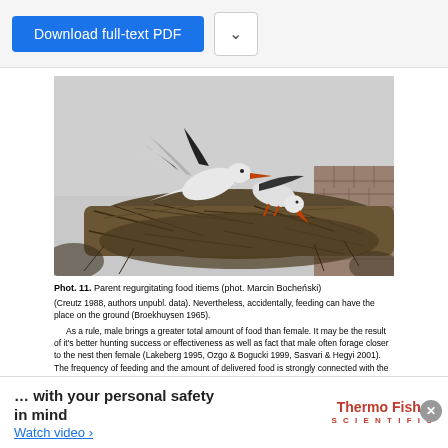Download full-text PDF
[Figure (photo): Black and white photograph of a parent stork regurgitating food items to chicks in a large nest built on top of a brick structure. Two adult storks visible with wings spread.]
Phot. 11. Parent regurgitating food itiems (phot. Marcin Bocheński)
(Creutz 1988, authors unpubl. data). Nevertheless, accidentally, feeding can have the place on the ground (Broekhuysen 1965).
    As a rule, male brings a greater total amount of food than female. It may be the result of it's better hunting success or effectiveness as well as fact that male often forage closer to the nest then female (Lakeberg 1995, Ozgo & Bogucki 1999, Sasvari & Hegyi 2001). The frequency of feeding and the amount of delivered food is strongly connected with the time budget of the breeding pair during the season and can depend on many factors as breeding stage, brood size, breeding density, richness of food sources, weather conditions, and experience of the parents. On average, a breeding pair can perform up to 15 feeding ations per day...